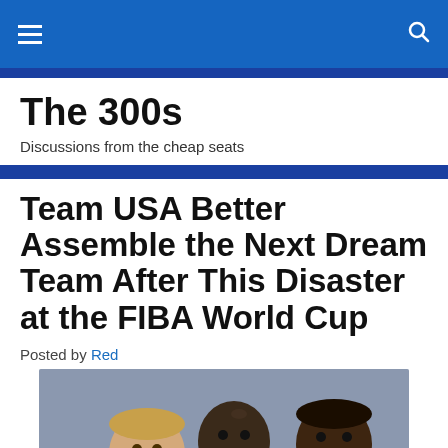The 300s — Discussions from the cheap seats (navigation bar)
The 300s
Discussions from the cheap seats
Team USA Better Assemble the Next Dream Team After This Disaster at the FIBA World Cup
Posted by Red
[Figure (photo): Three basketball players posing together smiling — Larry Bird, Michael Jordan, and Magic Johnson — wearing USA basketball uniforms]